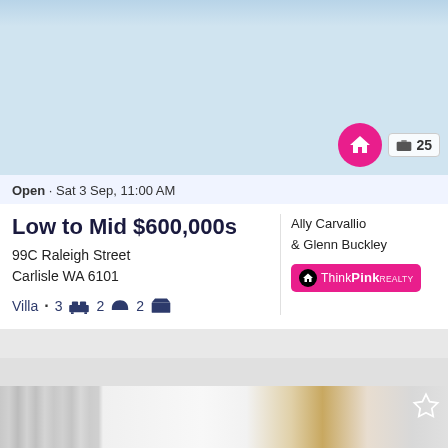[Figure (photo): Exterior photo of brick house with white garage door and driveway]
Open • Sat 3 Sep, 11:00 AM
Low to Mid $600,000s
99C Raleigh Street
Carlisle WA 6101
Villa • 3 [bed] 2 [bath] 2 [garage]
Ally Carvallio & Glenn Buckley
[Figure (logo): ThinkPink Realty logo - pink rectangle with house icon and text]
[Figure (photo): Interior photo showing modern kitchen with white cabinets, island bench, stainless steel fridge and feature front door]